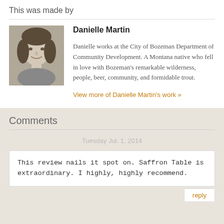This was made by
[Figure (photo): Black and white headshot photo of Danielle Martin, a woman with wavy hair, smiling]
Danielle Martin
Danielle works at the City of Bozeman Department of Community Development. A Montana native who fell in love with Bozeman's remarkable wilderness, people, beer, community, and formidable trout.
View more of Danielle Martin's work »
Comments
Tuesday Jul. 1, 2014
This review nails it spot on. Saffron Table is extraordinary. I highly, highly recommend.
reply